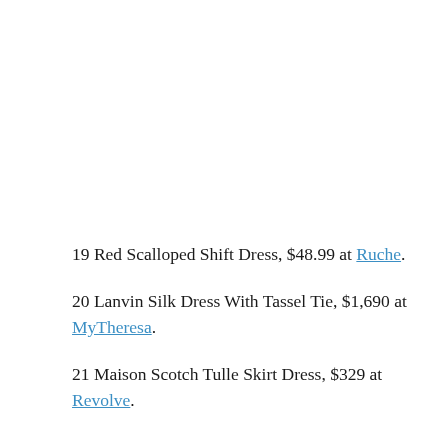19 Red Scalloped Shift Dress, $48.99 at Ruche.
20 Lanvin Silk Dress With Tassel Tie, $1,690 at MyTheresa.
21 Maison Scotch Tulle Skirt Dress, $329 at Revolve.